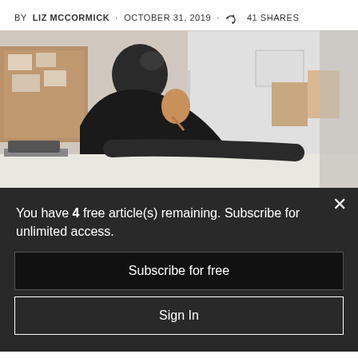BY LIZ MCCORMICK · OCTOBER 31, 2019 · 41 SHARES
[Figure (photo): A woman with dark hair in a bun, wearing a black sleeveless top, leaning over a table in a kitchen or studio workspace with a refrigerator and bulletin board in the background.]
You have 4 free article(s) remaining. Subscribe for unlimited access.
Subscribe for free
Sign In